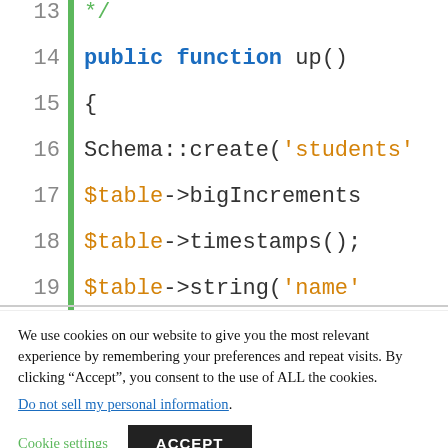[Figure (screenshot): Code editor screenshot showing PHP Laravel migration code lines 13-25 with line numbers and syntax highlighting. Green bar on left margin. Shows: line 13: */, line 14: public function up(), line 15: {, line 16: Schema::create('students', line 17: $table->bigIncrements, line 18: $table->timestamps();, line 19: $table->string('name', line 20: $table->string('roll', line 21: $table->string('resul, line 22: $table->string('mobil, line 23: });, line 24: }, line 25: (partial)]
We use cookies on our website to give you the most relevant experience by remembering your preferences and repeat visits. By clicking “Accept”, you consent to the use of ALL the cookies.
Do not sell my personal information.
Cookie settings   ACCEPT